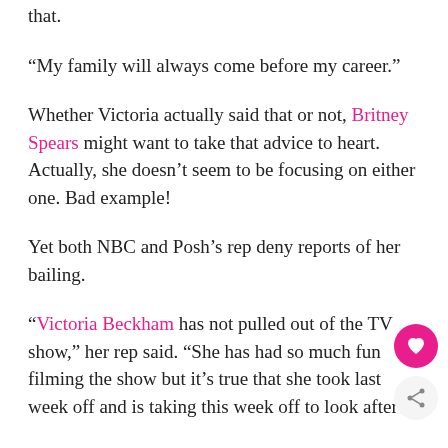that.
“My family will always come before my career.”
Whether Victoria actually said that or not, Britney Spears might want to take that advice to heart. Actually, she doesn’t seem to be focusing on either one. Bad example!
Yet both NBC and Posh’s rep deny reports of her bailing.
“Victoria Beckham has not pulled out of the TV show,” her rep said. “She has had so much fun filming the show but it’s true that she took last week off and is taking this week off to look after